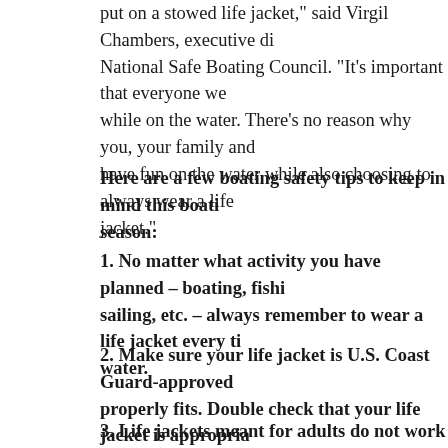put on a stowed life jacket," said Virgil Chambers, executive di... National Safe Boating Council. "It's important that everyone we... while on the water. There's no reason why you, your family and... have fun on the water while also choosing to always wear a life jacket."
Here are a few boating safety tips to keep in mind this boating season:
1. No matter what activity you have planned – boating, fishing, sailing, etc. – always remember to wear a life jacket every time on the water.
2. Make sure your life jacket is U.S. Coast Guard-approved and properly fits. Double check that your life jacket is appropriate for your favorite boating activities.
3. Life jackets meant for adults do not work for children. If you are boating with children, make sure they...